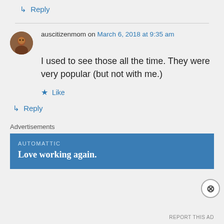↳ Reply
auscitizenmom on March 6, 2018 at 9:35 am
I used to see those all the time. They were very popular (but not with me.)
★ Like
↳ Reply
Advertisements
AUTOMATTIC
Love working again.